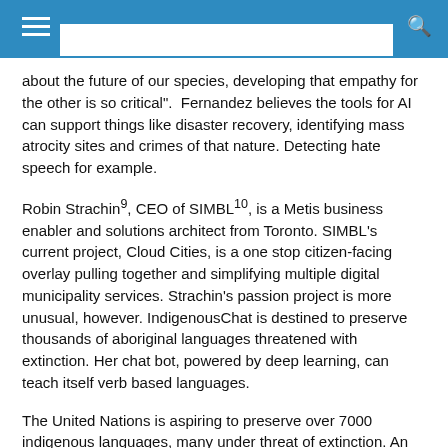about the future of our species, developing that empathy for the other is so critical".  Fernandez believes the tools for AI can support things like disaster recovery, identifying mass atrocity sites and crimes of that nature. Detecting hate speech for example.
Robin Strachin9, CEO of SIMBL10, is a Metis business enabler and solutions architect from Toronto. SIMBL's current project, Cloud Cities, is a one stop citizen-facing overlay pulling together and simplifying multiple digital municipality services. Strachin's passion project is more unusual, however. IndigenousChat is destined to preserve thousands of aboriginal languages threatened with extinction. Her chat bot, powered by deep learning, can teach itself verb based languages.
The United Nations is aspiring to preserve over 7000 indigenous languages, many under threat of extinction. An early step in cultural revitalization, and even